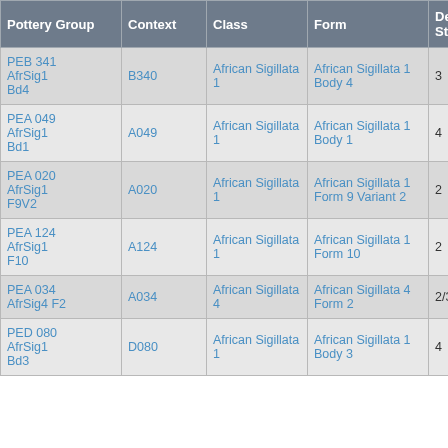| Pottery Group | Context | Class | Form | Depos Status | R Ct | R EV |
| --- | --- | --- | --- | --- | --- | --- |
| PEB 341 AfrSig1 Bd4 | B340 | African Sigillata 1 | African Sigillata 1 Body 4 | 3 |  |  |
| PEA 049 AfrSig1 Bd1 | A049 | African Sigillata 1 | African Sigillata 1 Body 1 | 4 |  |  |
| PEA 020 AfrSig1 F9V2 | A020 | African Sigillata 1 | African Sigillata 1 Form 9 Variant 2 | 2 | 2 | 2 |
| PEA 124 AfrSig1 F10 | A124 | African Sigillata 1 | African Sigillata 1 Form 10 | 2 | 1 | 1 |
| PEA 034 AfrSig4 F2 | A034 | African Sigillata 4 | African Sigillata 4 Form 2 | 2/3 | 1 | 1 |
| PED 080 AfrSig1 Bd3 | D080 | African Sigillata 1 | African Sigillata 1 Body 3 | 4 |  |  |